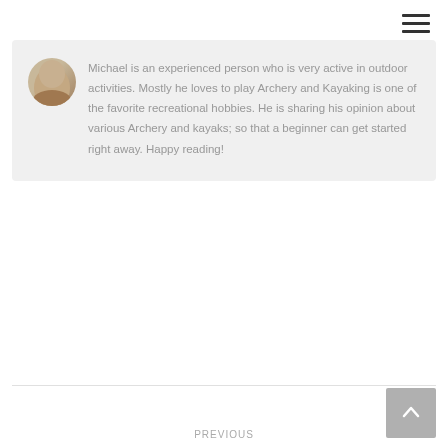[Figure (other): Hamburger menu icon (three horizontal lines) in top right corner]
[Figure (photo): Partial circular avatar/profile photo of a person named Michael, partially cropped at top]
Michael is an experienced person who is very active in outdoor activities. Mostly he loves to play Archery and Kayaking is one of the favorite recreational hobbies. He is sharing his opinion about various Archery and kayaks; so that a beginner can get started right away. Happy reading!
PREVIOUS